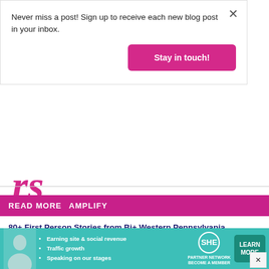Never miss a post! Sign up to receive each new blog post in your inbox.
Stay in touch!
READ MORE  AMPLIFY
80+ First Person Stories from Bi+ Western Pennsylvania Neighbors in Honor of #BiVisibilityDay 2021
35 Western Pennsylvania Voices on Pansexual Visibility Day
318 Coming Out Stories from Western Pennsylvan
[Figure (infographic): SHE Partner Network advertisement banner at bottom of page with photo of woman, bullet points about earning site & social revenue, traffic growth, speaking on stages, and a Learn More button]